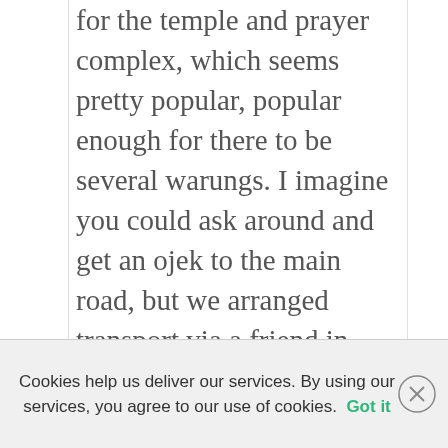for the temple and prayer complex, which seems pretty popular, popular enough for there to be several warungs. I imagine you could ask around and get an ojek to the main road, but we arranged transport via a friend in advance, as i had a train to catch back to Jakarta from Kepanjen. I was a bit worried about the lockdown starting at midnight and arriving back at 4am, but as it turned out, surprise surprise, the actual details of the lockdown were still being discussed and it seems like trains are already complying with whatever the new rules are going to be anyway. Just don't re-introduce the SIKM again and force me
Cookies help us deliver our services. By using our services, you agree to our use of cookies. Got it
williamwessels.com/2020/likers